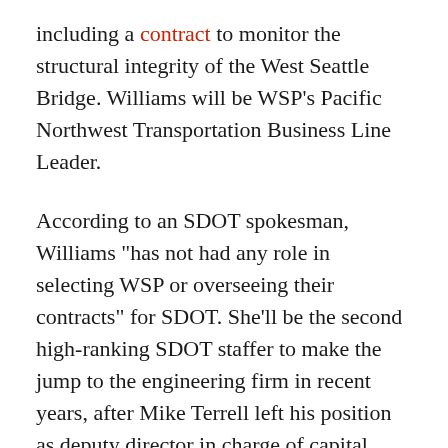including a contract to monitor the structural integrity of the West Seattle Bridge. Williams will be WSP's Pacific Northwest Transportation Business Line Leader.
According to an SDOT spokesman, Williams "has not had any role in selecting WSP or overseeing their contracts" for SDOT. She'll be the second high-ranking SDOT staffer to make the jump to the engineering firm in recent years, after Mike Terrell left his position as deputy director in charge of capital projects and roadway structures to take a job at WSP in 2018. Although city rules bar certain high-ranking employees from lobbying elected officials for three years after leaving the city, there are no